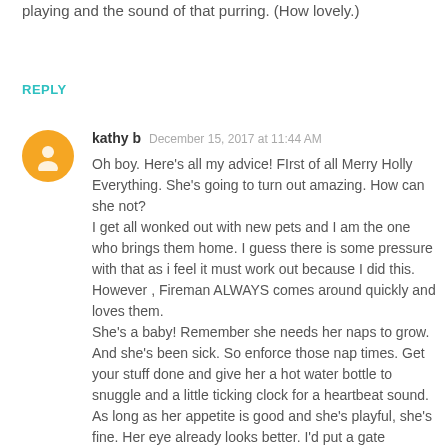playing and the sound of that purring. (How lovely.)
REPLY
kathy b  December 15, 2017 at 11:44 AM
Oh boy. Here's all my advice! FIrst of all Merry Holly Everything. She's going to turn out amazing. How can she not?
I get all wonked out with new pets and I am the one who brings them home. I guess there is some pressure with that as i feel it must work out because I did this. However , Fireman ALWAYS comes around quickly and loves them.
She's a baby! Remember she needs her naps to grow. And she's been sick. So enforce those nap times. Get your stuff done and give her a hot water bottle to snuggle and a little ticking clock for a heartbeat sound.
As long as her appetite is good and she's playful, she's fine. Her eye already looks better. I'd put a gate between frodo and her until they are both completely bored with one another.